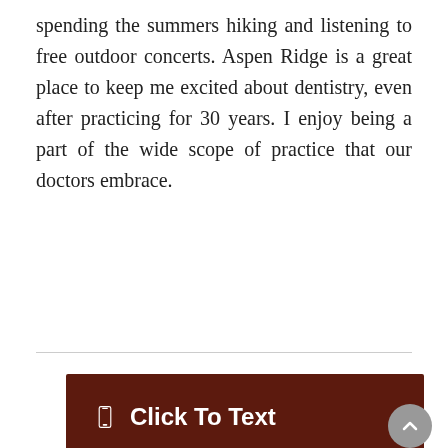spending the summers hiking and listening to free outdoor concerts. Aspen Ridge is a great place to keep me excited about dentistry, even after practicing for 30 years. I enjoy being a part of the wide scope of practice that our doctors embrace.
[Figure (other): Dark brown button with phone icon and text 'Click To Text']
[Figure (other): Dark brown button with gold text 'NEW PATIENT ONLINE OFFER' and a cream/tan bar at the bottom]